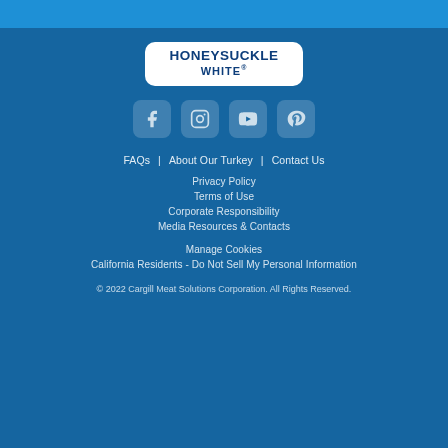[Figure (logo): Honeysuckle White logo: white badge with dark blue text reading HONEYSUCKLE WHITE®]
[Figure (infographic): Row of four social media icons: Facebook, Instagram, YouTube, Pinterest — white icons on semi-transparent rounded square backgrounds]
FAQs | About Our Turkey | Contact Us
Privacy Policy
Terms of Use
Corporate Responsibility
Media Resources & Contacts
Manage Cookies
California Residents - Do Not Sell My Personal Information
© 2022 Cargill Meat Solutions Corporation. All Rights Reserved.